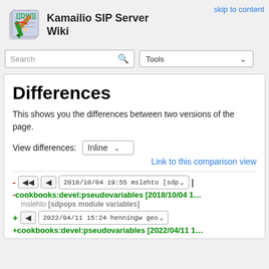Kamailio SIP Server Wiki
skip to content
Search | Tools
Differences
This shows you the differences between two versions of the page.
View differences: Inline
Link to this comparison view
- 2018/10/04 19:55 mslehto [sdp...
-cookbooks:devel:pseudovariables [2018/10/04 1...
mslehto [sdpops module variables]
+ 2022/04/11 15:24 henningw geo...
+cookbooks:devel:pseudovariables [2022/04/11 1...